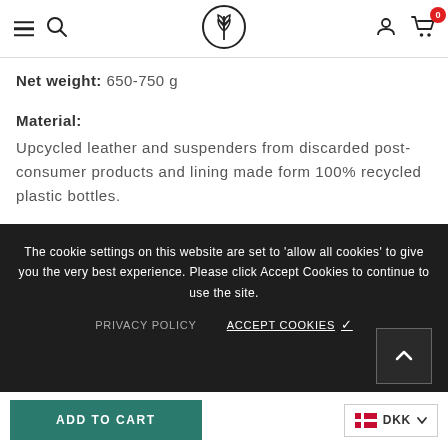Navigation header with hamburger menu, search icon, logo, user icon, cart (0)
Net weight: 650-750 g
Material:
Upcycled leather and suspenders from discarded post-consumer products and lining made form 100% recycled plastic bottles.
The cookie settings on this website are set to 'allow all cookies' to give you the very best experience. Please click Accept Cookies to continue to use the site.
PRIVACY POLICY   ACCEPT COOKIES ✓
ADD TO CART   DKK